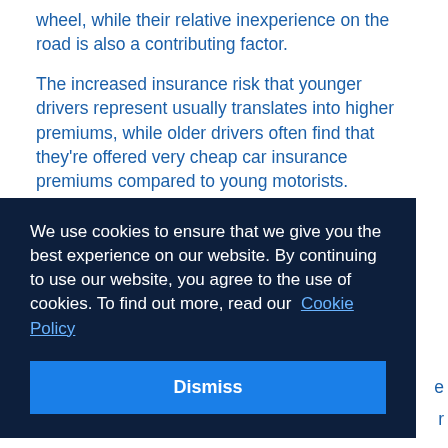wheel, while their relative inexperience on the road is also a contributing factor.
The increased insurance risk that younger drivers represent usually translates into higher premiums, while older drivers often find that they're offered very cheap car insurance premiums compared to young motorists.
We use cookies to ensure that we give you the best experience on our website. By continuing to use our website, you agree to the use of cookies. To find out more, read our Cookie Policy
Dismiss
likely to be involved in an accident than